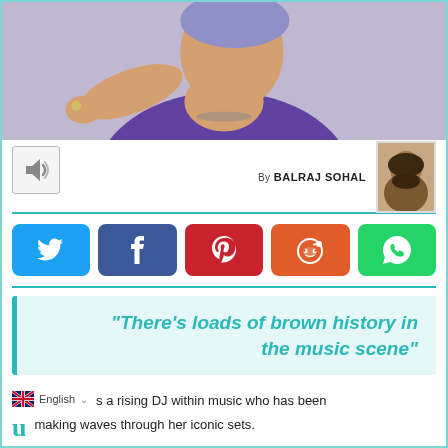[Figure (photo): Person with purple/blue hair pointing at camera, wearing purple jacket and necklace, light purple background.]
[Figure (photo): Small headshot of a bearded man (author Balraj Sohal).]
By BALRAJ SOHAL
[Figure (infographic): Row of five social media share buttons: Twitter (blue), Facebook (dark blue), Pinterest (red), Reddit (orange), WhatsApp (green).]
"There’s loads of brown history in the music scene"
English
s a rising DJ within music who has been making waves through her iconic sets.